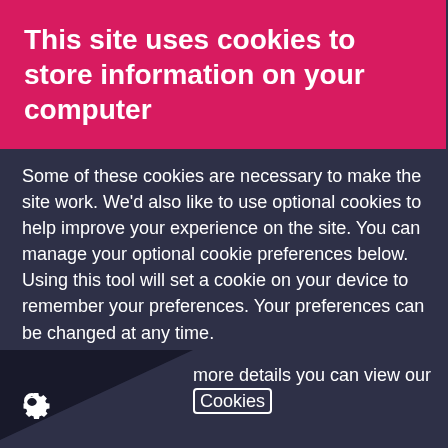This site uses cookies to store information on your computer
Some of these cookies are necessary to make the site work. We'd also like to use optional cookies to help improve your experience on the site. You can manage your optional cookie preferences below. Using this tool will set a cookie on your device to remember your preferences. Your preferences can be changed at any time.
more details you can view our Cookies